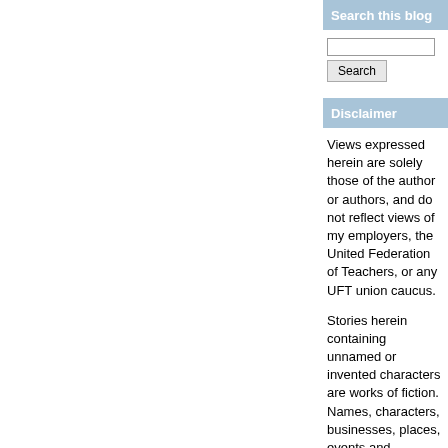Search this blog
Disclaimer
Views expressed herein are solely those of the author or authors, and do not reflect views of my employers, the United Federation of Teachers, or any UFT union caucus.
Stories herein containing unnamed or invented characters are works of fiction. Names, characters, businesses, places, events and incidents are either